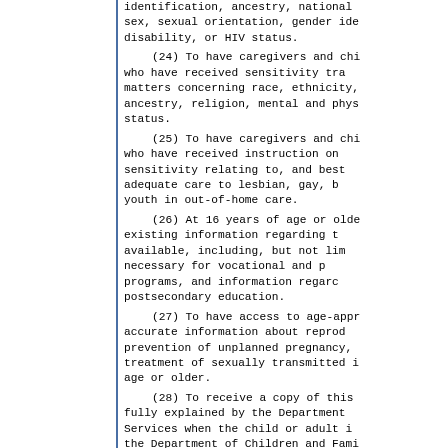identification, ancestry, national sex, sexual orientation, gender ide disability, or HIV status.
(24) To have caregivers and chi who have received sensitivity tra matters concerning race, ethnicity, ancestry, religion, mental and phys status.
(25) To have caregivers and chi who have received instruction on sensitivity relating to, and best adequate care to lesbian, gay, b youth in out-of-home care.
(26) At 16 years of age or olde existing information regarding t available, including, but not lim necessary for vocational and p programs, and information regarc postsecondary education.
(27) To have access to age-appr accurate information about reprod prevention of unplanned pregnancy, treatment of sexually transmitted i age or older.
(28) To receive a copy of this fully explained by the Department Services when the child or adult i the Department of Children and Fami
(29) To be placed in the least family-like setting available and